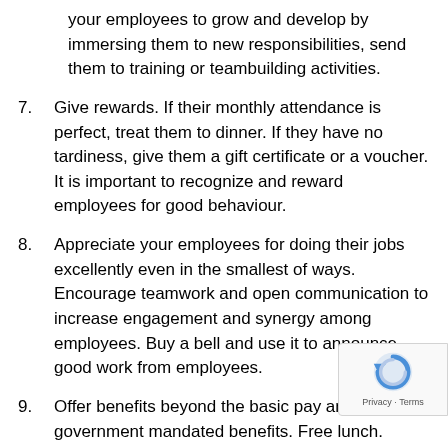your employees to grow and develop by immersing them to new responsibilities, send them to training or teambuilding activities.
7. Give rewards. If their monthly attendance is perfect, treat them to dinner. If they have no tardiness, give them a gift certificate or a voucher. It is important to recognize and reward employees for good behaviour.
8. Appreciate your employees for doing their jobs excellently even in the smallest of ways. Encourage teamwork and open communication to increase engagement and synergy among employees. Buy a bell and use it to announce good work from employees.
9. Offer benefits beyond the basic pay and government mandated benefits. Free lunch. health care, gym memberships are often benefits that employees mi look forward to having.